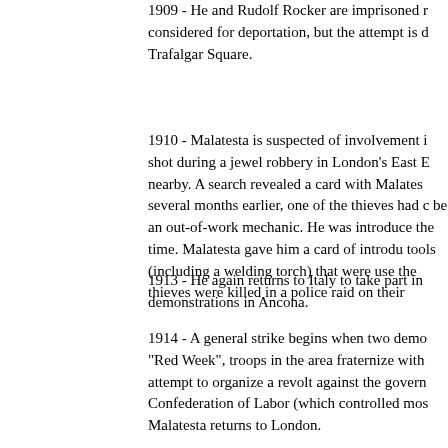1909 - He and Rudolf Rocker are imprisoned r[...] considered for deportation, but the attempt is d[...] Trafalgar Square.
1910 - Malatesta is suspected of involvement i[...] shot during a jewel robbery in London's East E[...] nearby. A search revealed a card with Malates[...] several months earlier, one of the thieves had c[...] be an out-of-work mechanic. He was introduce[...] the time. Malatesta gave him a card of introdu[...] tools (including a welding torch) that were use[...] the thieves were killed in a police raid on their[...]
1913 - He again returns to Italy to take part in [...] demonstrations in Ancona.
1914 - A general strike begins when two demo[...] "Red Week", troops in the area fraternize with [...] attempt to organize a revolt against the govern[...] Confederation of Labor (which controlled mos[...] Malatesta returns to London.
1919 - Malatesta returns to Italy, where he star[...] period of turmoil prior to Mussolini's ascent to[...]
1920 - (October) He urges that workers strike a[...]